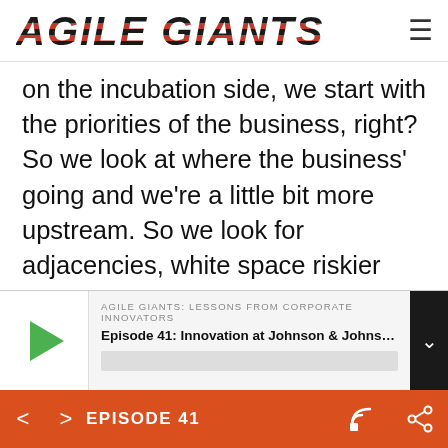AGILE GIANTS
on the incubation side, we start with the priorities of the business, right? So we look at where the business' going and we're a little bit more upstream. So we look for adjacencies, white space riskier type projects that can really be the assets of tomorrow, right? So we also look at trends and some of the things that are disruptive or transformational that are coming down the pike that may not have current right
AGILE GIANTS: LESSONS FROM CORPORATE INNOVATORS
Episode 41: Innovation at Johnson & Johnson wit...
EPISODE 41